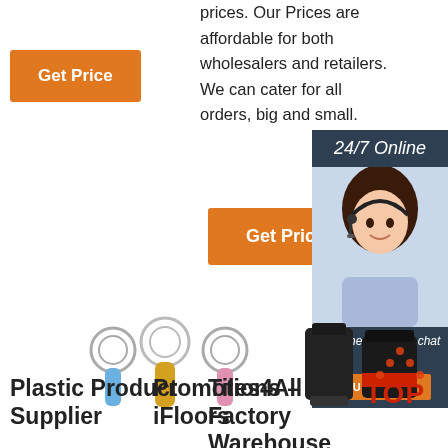prices. Our Prices are affordable for both wholesalers and retailers. We can cater for all orders, big and small.
[Figure (other): Orange 'Get Price' button (top left)]
[Figure (other): Orange 'Get Price' button (center)]
[Figure (other): 24/7 Online sidebar with customer service agent photo, 'Click here for free chat!' text, and orange QUOTATION button]
[Figure (photo): Plastic ring terminal connectors in blue, gold/yellow, and pink colors]
[Figure (photo): Black weatherproof electrical connectors]
[Figure (photo): Blue plastic bags or packaging materials]
[Figure (logo): TOP logo with orange dots arranged in triangle above bold red/orange TOP text]
Plastic Product Supplier
Tiles4All Factory Warehouse
Promotions – iFloors